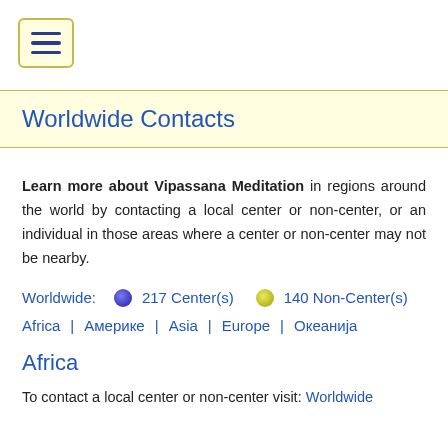[Figure (other): Hamburger menu button icon with three horizontal lines in a rounded yellow-bordered box]
Worldwide Contacts
Learn more about Vipassana Meditation in regions around the world by contacting a local center or non-center, or an individual in those areas where a center or non-center may not be nearby.
Worldwide:  217 Center(s)  140 Non-Center(s)
Africa | Америке | Asia | Europe | Океанија
Africa
To contact a local center or non-center visit: Worldwide